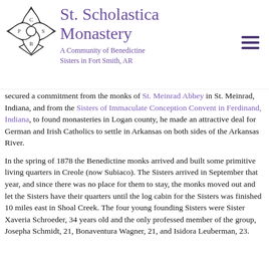[Figure (logo): St. Scholastica Monastery logo: a four-petal flower shape with letters C, S, P, B in each petal]
St. Scholastica Monastery
A Community of Benedictine Sisters in Fort Smith, AR
secured a commitment from the monks of St. Meinrad Abbey in St. Meinrad, Indiana, and from the Sisters of Immaculate Conception Convent in Ferdinand, Indiana, to found monasteries in Logan county, he made an attractive deal for German and Irish Catholics to settle in Arkansas on both sides of the Arkansas River.
In the spring of 1878 the Benedictine monks arrived and built some primitive living quarters in Creole (now Subiaco). The Sisters arrived in September that year, and since there was no place for them to stay, the monks moved out and let the Sisters have their quarters until the log cabin for the Sisters was finished 10 miles east in Shoal Creek. The four young founding Sisters were Sister Xaveria Schroeder, 34 years old and the only professed member of the group, Josepha Schmidt, 21, Bonaventura Wagner, 21, and Isidora Leuberman, 23.